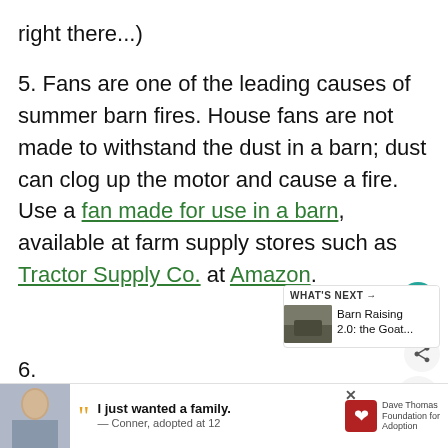right there...)
5. Fans are one of the leading causes of summer barn fires. House fans are not made to withstand the dust in a barn; dust can clog up the motor and cause a fire. Use a fan made for use in a barn, available at farm supply stores such as Tractor Supply Co. at Amazon.
[Figure (other): What's Next widget showing thumbnail image and text 'Barn Raising 2.0: the Goat...']
[Figure (other): Heart/save button (teal circle with heart icon)]
[Figure (other): Share button (light circle with share icon)]
[Figure (other): Hamburger menu button (light circle with three lines)]
[Figure (other): Advertisement banner: Dave Thomas Foundation for Adoption. Photo of boy, quote 'I just wanted a family. — Conner, adopted at 12']
6.